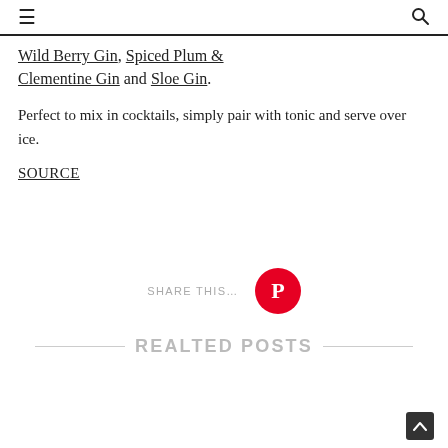≡  🔍
Wild Berry Gin, Spiced Plum & Clementine Gin and Sloe Gin.
Perfect to mix in cocktails, simply pair with tonic and serve over ice.
SOURCE
SHARE THIS...
REALTED POSTS